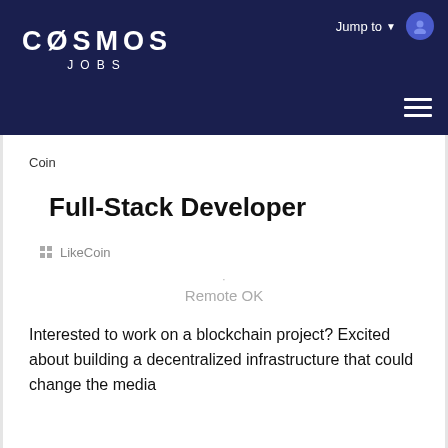COSMOS JOBS — Jump to
[Figure (logo): LikeCoin broken image placeholder with alt text 'Like Coin']
Full-Stack Developer
LikeCoin
Remote OK
Interested to work on a blockchain project? Excited about building a decentralized infrastructure that could change the media